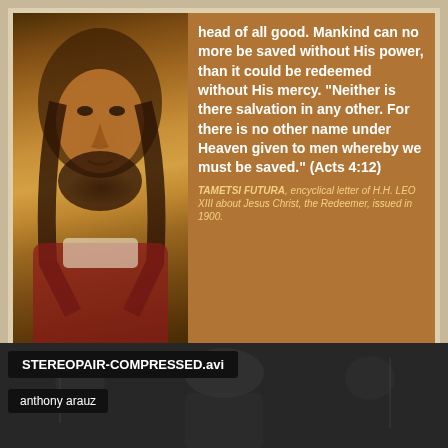[Figure (illustration): Religious image: painting of Jesus Christ on left side of card, with brown/golden tones]
head of all good. Mankind can no more be saved without His power, than it could be redeemed without His mercy. "Neither is there salvation in any other. For there is no other name under Heaven given to men whereby we must be saved." (Acts 4:12)
TAMETSI FUTURA, encyclical letter of H.H. LEO XIII about Jesus Christ, the Redeemer, issued in 1900.
Watch the following video of a 3D hologram of the Holy Shroud
[Figure (screenshot): Video player screenshot showing: title 'STEREOPAIR-COMPRESSED.avi', uploader 'anthony arauz', background image of the Holy Shroud of Turin in grayscale, with Player error message: 'The player is having trouble. We'll have it back up and running as soon as possible.']